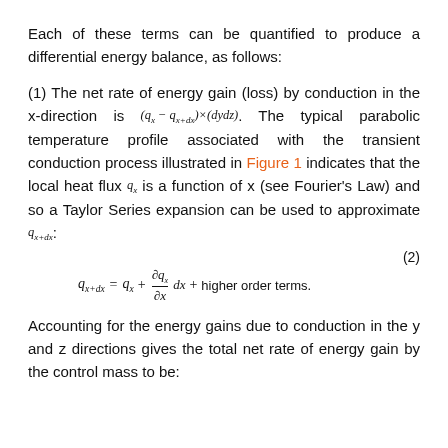Each of these terms can be quantified to produce a differential energy balance, as follows:
(1) The net rate of energy gain (loss) by conduction in the x-direction is (q_x - q_{x+dx}) × (dydz). The typical parabolic temperature profile associated with the transient conduction process illustrated in Figure 1 indicates that the local heat flux q_x is a function of x (see Fourier's Law) and so a Taylor Series expansion can be used to approximate q_{x+dx}:
Accounting for the energy gains due to conduction in the y and z directions gives the total net rate of energy gain by the control mass to be: